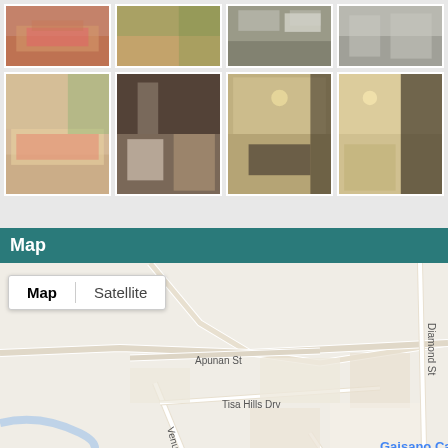[Figure (photo): Grid of property interior and exterior photos, two rows of four images each. Row 1: bedroom with pink bedding, room with green curtains, exterior/parking area, bedroom detail. Row 2: bedroom with red bedding and balcony, bathroom with dark tiles, living room with dark furniture, bright room with furniture.]
Map
[Figure (map): Google Maps view showing Tisa area in Cebu, Philippines. Shows streets including Mohon Rd, Diamond St, Apunan St, Tisa Hills Drv, Venus St, Satu St. Landmarks: Tisa Public Market (blue pin), Tisa Barangay Hall (grey pin), Gaisano Capital Tisa (blue pin), Iglesia Ni Cristo - Lokal ng Tisa. Map/Satellite toggle buttons visible at top left.]